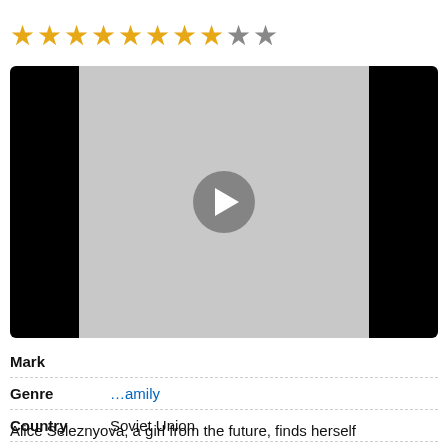[Figure (screenshot): Star rating showing 8 filled gold stars and 2 empty/grey stars out of 10]
[Figure (screenshot): Video player thumbnail with grey/black background and a circular play button in the center]
| Mark |  |
| Genre | ...amily |
| Country | Soviet Union |
| Duration | 05:17 |
Alice Seleznyova, a girl from the future, finds herself